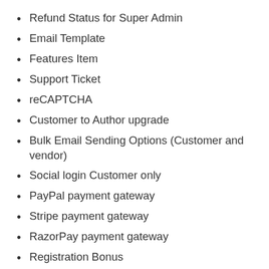Refund Status for Super Admin
Email Template
Features Item
Support Ticket
reCAPTCHA
Customer to Author upgrade
Bulk Email Sending Options (Customer and vendor)
Social login Customer only
PayPal payment gateway
Stripe payment gateway
RazorPay payment gateway
Registration Bonus
User log: IP Country and more